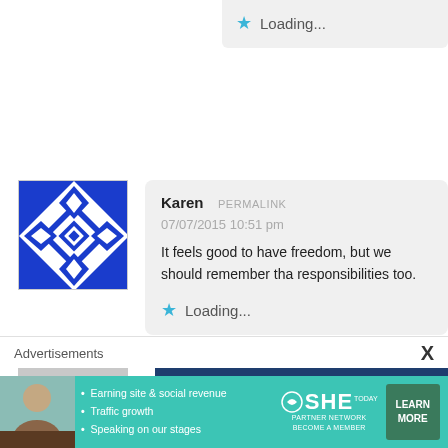Loading...
Karen  PERMALINK
07/07/2015 10:51 pm
It feels good to have freedom, but we should remember that responsibilities too.
Loading...
[Figure (illustration): Blue and white geometric quilt-pattern avatar for user Karen]
Papaleng Pagulong  PERMALINK
07/07/2015 11:37 pm
[Figure (illustration): Default grey silhouette avatar for user Papaleng Pagulong]
Advertisements
[Figure (infographic): SHE Media Partner Network advertisement banner with teal background. Text: Earning site & social revenue, Traffic growth, Speaking on our stages. SHE PARTNER NETWORK BECOME A MEMBER. LEARN MORE button.]